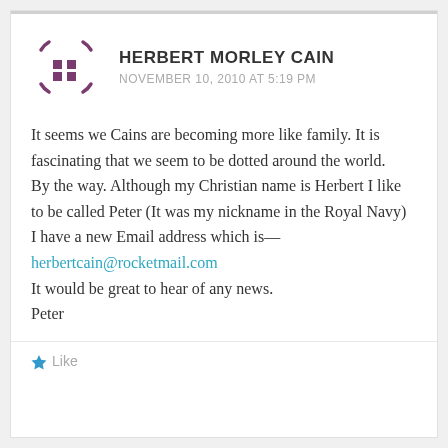[Figure (illustration): Purple avatar icon showing crosshair/target symbol with small squares]
HERBERT MORLEY CAIN
NOVEMBER 10, 2010 AT 5:19 PM
It seems we Cains are becoming more like family. It is fascinating that we seem to be dotted around the world.
By the way. Although my Christian name is Herbert I like to be called Peter (It was my nickname in the Royal Navy)
I have a new Email address which is-- herbertcain@rocketmail.com
It would be great to hear of any news.
Peter
Like